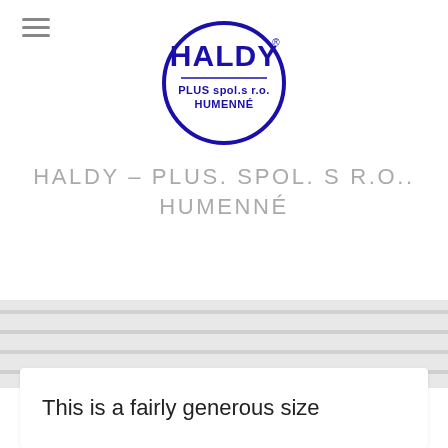[Figure (logo): HALDY PLUS spol.s r.o. HUMENNÉ circular logo in dark blue, with bold stylized text HALDY at top inside a circle, and text PLUS spol.s r.o. HUMENNÉ below inside the circle]
HALDY – PLUS. SPOL. S R.O.. HUMENNÉ
This is a fairly generous size